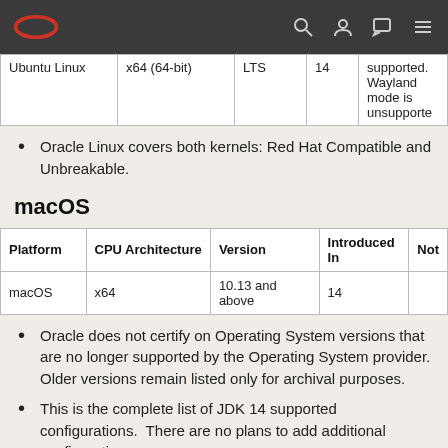Oracle [logo] | search | user | chat | menu
| Platform | CPU Architecture | Version | Introduced In | Notes |
| --- | --- | --- | --- | --- |
| Ubuntu Linux | x64 (64-bit) | LTS | 14 | supported. Wayland mode is unsupported |
Oracle Linux covers both kernels: Red Hat Compatible and Unbreakable.
macOS
| Platform | CPU Architecture | Version | Introduced In | Notes |
| --- | --- | --- | --- | --- |
| macOS | x64 | 10.13 and above | 14 |  |
Oracle does not certify on Operating System versions that are no longer supported by the Operating System provider. Older versions remain listed only for archival purposes.
This is the complete list of JDK 14 supported configurations.  There are no plans to add additional configurations.
Only 64-bit Java virtual machines (JVMs) are certified